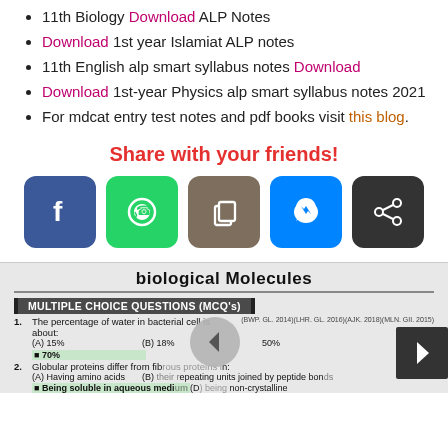11th Biology Download ALP Notes
Download 1st year Islamiat ALP notes
11th English alp smart syllabus notes Download
Download 1st-year Physics alp smart syllabus notes 2021
For mdcat entry test notes and pdf books visit this blog.
Share with your friends!
[Figure (infographic): Five social share buttons: Facebook (blue), WhatsApp (green), Copy (brown), Messenger (blue), Share (dark grey)]
biological Molecules
MULTIPLE CHOICE QUESTIONS (MCQ's)
1. The percentage of water in bacterial cell is about: (BWP. GL. 2014)(LHR. GL. 2016)(AJK. 2018)(MLN. GII. 2015)
(A) 15%  (B) 18%  50%  (D) 70%
2. Globular proteins differ from fibrous proteins in: (LHR. GL.
(A) Having amino acids  (B) Their repeating units joined by peptide bonds
(C) Being soluble in aqueous medium  (D) Being non-crystalline